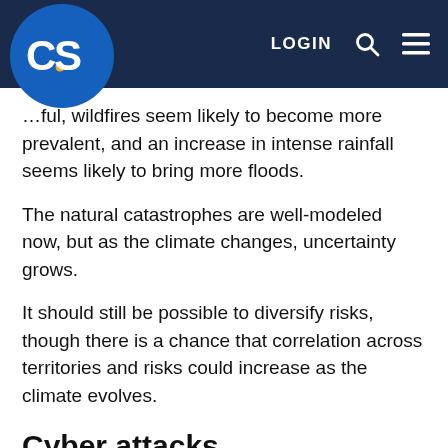CAS — LOGIN
…ful, wildfires seem likely to become more prevalent, and an increase in intense rainfall seems likely to bring more floods.
The natural catastrophes are well-modeled now, but as the climate changes, uncertainty grows.
It should still be possible to diversify risks, though there is a chance that correlation across territories and risks could increase as the climate evolves.
Cyber attacks
The expected loss will grow as our digital systems grow and become more integrated.
Uncertainty is relatively high because the risk is fairly…